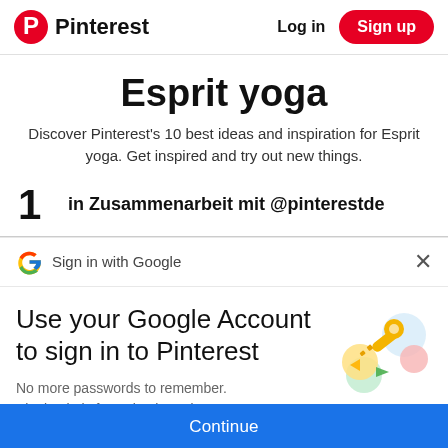Pinterest  Log in  Sign up
Esprit yoga
Discover Pinterest's 10 best ideas and inspiration for Esprit yoga. Get inspired and try out new things.
1  in Zusammenarbeit mit @pinterestde
Sign in with Google
Use your Google Account to sign in to Pinterest
No more passwords to remember. Signing in is fast, simple and secure.
Continue